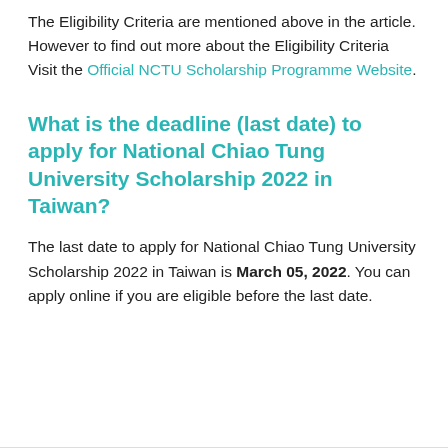The Eligibility Criteria are mentioned above in the article. However to find out more about the Eligibility Criteria Visit the Official NCTU Scholarship Programme Website.
What is the deadline (last date) to apply for National Chiao Tung University Scholarship 2022 in Taiwan?
The last date to apply for National Chiao Tung University Scholarship 2022 in Taiwan is March 05, 2022. You can apply online if you are eligible before the last date.